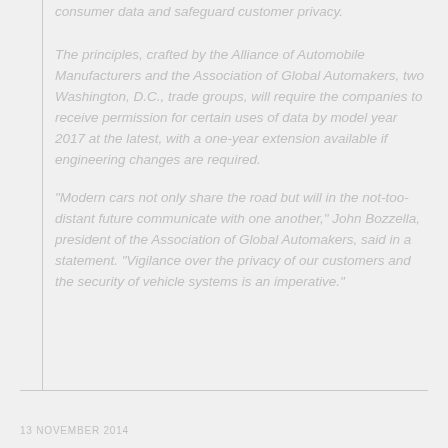consumer data and safeguard customer privacy.
The principles, crafted by the Alliance of Automobile Manufacturers and the Association of Global Automakers, two Washington, D.C., trade groups, will require the companies to receive permission for certain uses of data by model year 2017 at the latest, with a one-year extension available if engineering changes are required.
"Modern cars not only share the road but will in the not-too-distant future communicate with one another," John Bozzella, president of the Association of Global Automakers, said in a statement. "Vigilance over the privacy of our customers and the security of vehicle systems is an imperative."
13 NOVEMBER 2014